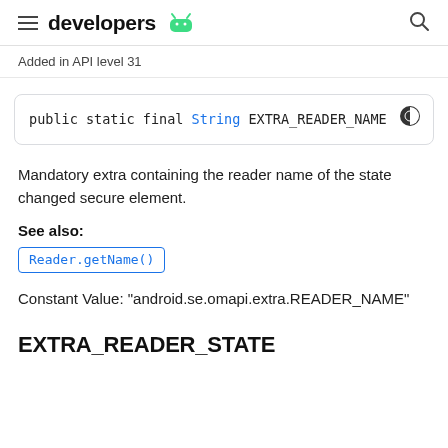developers [android logo]
Added in API level 31
Mandatory extra containing the reader name of the state changed secure element.
See also:
Reader.getName()
Constant Value: "android.se.omapi.extra.READER_NAME"
EXTRA_READER_STATE